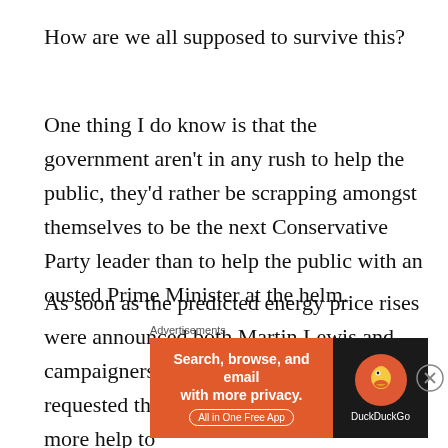How are we all supposed to survive this?
One thing I do know is that the government aren't in any rush to help the public, they'd rather be scrapping amongst themselves to be the next Conservative Party leader than to help the public with an ousted Prime Minister at the helm.
As soon as the predicted energy price rises were announced both Martin Lewis and campaigners such as myself have requested that the government provides more help to
Advertisements
[Figure (screenshot): DuckDuckGo advertisement banner: orange left section with text 'Search, browse, and email with more privacy. All in One Free App' and dark right section with DuckDuckGo duck logo and brand name.]